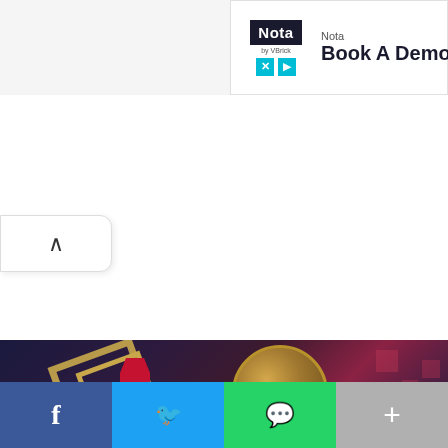[Figure (screenshot): Advertisement banner for Nota (by VBrick) with logo, X and play icons, and text 'Book A Demo Toda...']
[Figure (illustration): Decorative article header image with dark background, gold picture frames, a gold coin, red geometric figure, and pink/red floating squares]
[Figure (infographic): Social share bar with Facebook (blue), Twitter (light blue), WhatsApp (green), and More (grey) buttons with respective icons]